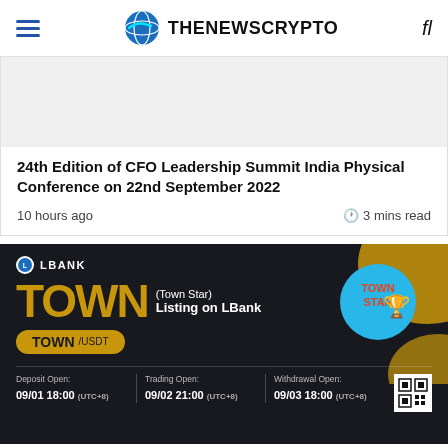THENEWSCRYPTO
[Figure (illustration): Article header image placeholder (gray)]
24th Edition of CFO Leadership Summit India Physical Conference on 22nd September 2022
10 hours ago   🕐 3 mins read
[Figure (illustration): LBank advertisement banner for TOWN (Town Star) listing on LBank. Shows TOWN/USDT trading pair with deposit open 09/01 18:00 UTC+8, trading open 09/02 21:00 UTC+8, withdrawal open 09/03 18:00 UTC+8.]